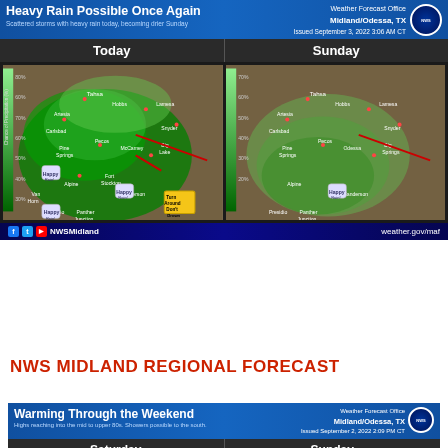[Figure (infographic): NWS Midland Weather Forecast graphic showing 'Heavy Rain Possible Once Again' with two maps for Today and Sunday showing chance of precipitation across West Texas region. Issued September 3, 2022 3:06 AM CT. Footer shows NWSMidland social media and weather.gov/maf]
NWS MIDLAND REGIONAL FORECAST
[Figure (infographic): NWS Midland Weather Forecast graphic showing 'Warming Through the Weekend' with Saturday and Sunday maps. Highs reaching into the mid to upper 80s. Showers possible to the south. Issued September 2, 2022 2:09 PM CT.]